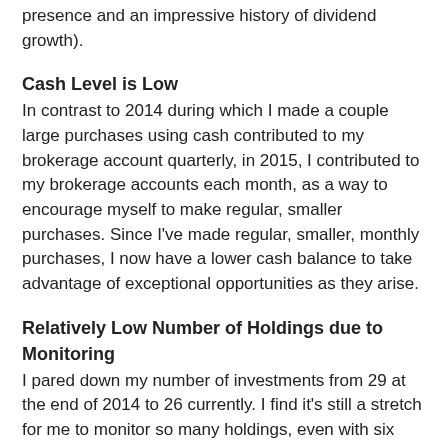presence and an impressive history of dividend growth).
Cash Level is Low
In contrast to 2014 during which I made a couple large purchases using cash contributed to my brokerage account quarterly, in 2015, I contributed to my brokerage accounts each month, as a way to encourage myself to make regular, smaller purchases. Since I've made regular, smaller, monthly purchases, I now have a lower cash balance to take advantage of exceptional opportunities as they arise.
Relatively Low Number of Holdings due to Monitoring
I pared down my number of investments from 29 at the end of 2014 to 26 currently. I find it's still a stretch for me to monitor so many holdings, even with six Canadian banks whose results are highly correlated. Although I see many other DGI bloggers with portfolios of 30-60+ companies, I simply can't effectively monitor that many investments given time constraints. Although, through Alaris, I gain exposure to 14 different companies, which further increases my sector and geographic diversification.
And from what my investments at the end of 2015, I'm interested in...